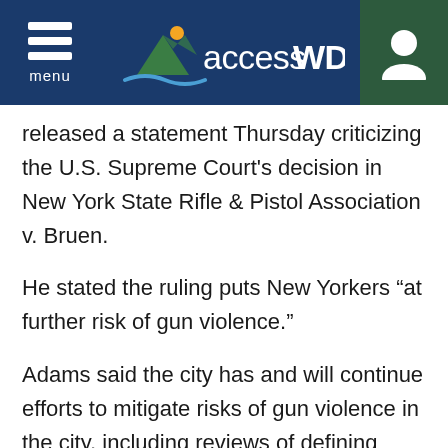accessWDUN — menu / user navigation
released a statement Thursday criticizing the U.S. Supreme Court's decision in New York State Rifle & Pistol Association v. Bruen.
He stated the ruling puts New Yorkers “at further risk of gun violence.”
Adams said the city has and will continue efforts to mitigate risks of gun violence in the city, including reviews of defining license application processes and “sensitive locations” where guns are banned.
“We will work together to mitigate the risks this